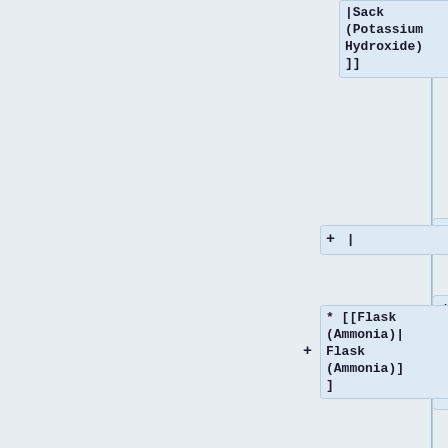|Sack (Potassium Hydroxide)]]
+ |
* [[Flask (Ammonia)|Flask (Ammonia)]]
* [[Potash Ore|Potash Ore]]
| {{Inventory|{{Inventory/Slot|index=1|title